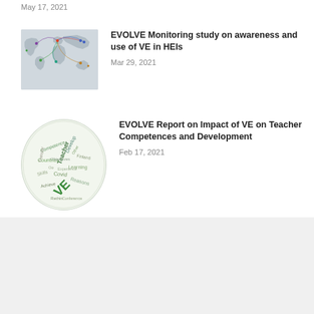May 17, 2021
[Figure (map): World map showing international connections/arcs between countries, with colored arc lines and pins indicating partner institutions.]
EVOLVE Monitoring study on awareness and use of VE in HEIs
Mar 29, 2021
[Figure (infographic): Circular word cloud infographic featuring words related to virtual exchange including: VE, Teacher, Learning, Countries, Competence, Transfer, Skills, Covid, Reasons, Objectives, Development, Achieve, Rethin, Conference, and others in green and grey tones.]
EVOLVE Report on Impact of VE on Teacher Competences and Development
Feb 17, 2021